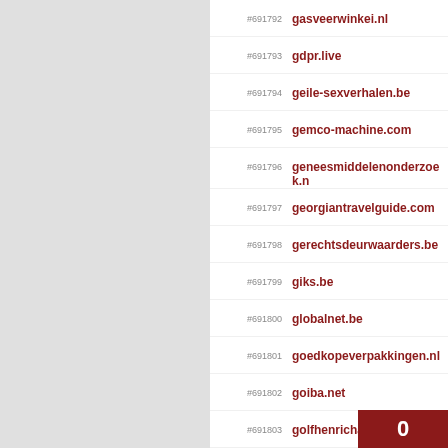#691792 gasveerwinkei.nl
#691793 gdpr.live
#691794 geile-sexverhalen.be
#691795 gemco-machine.com
#691796 geneesmiddelenonderzoek.n
#691797 georgiantravelguide.com
#691798 gerechtsdeurwaarders.be
#691799 giks.be
#691800 globalnet.be
#691801 goedkopeverpakkingen.nl
#691802 goiba.net
#691803 golfhenrichapelle.be
#691804 goudmails.nl
0